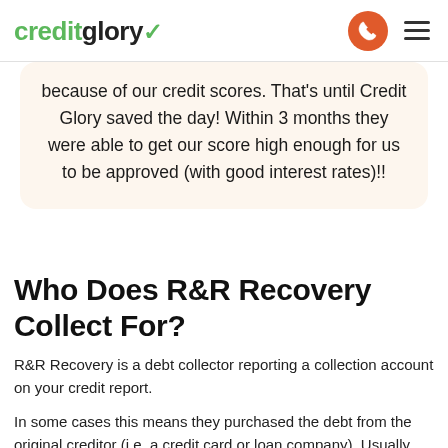creditglory
because of our credit scores. That's until Credit Glory saved the day! Within 3 months they were able to get our score high enough for us to be approved (with good interest rates)!!
Who Does R&R Recovery Collect For?
R&R Recovery is a debt collector reporting a collection account on your credit report.
In some cases this means they purchased the debt from the original creditor (i.e. a credit card or loan company). Usually this means they provide services on the debt...